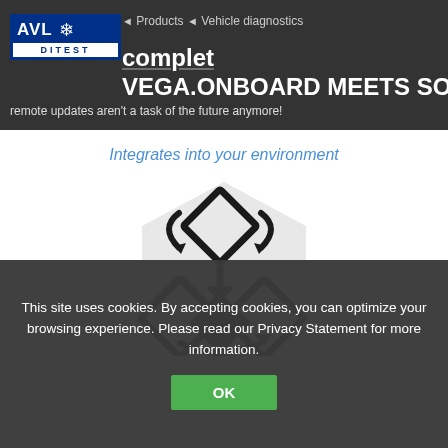Products | Vehicle diagnostics
VEGA.ONBOARD MEETS SOVD
remote updates aren't a task of the future anymore!
Integrates into your environment
[Figure (illustration): Hexagonal diagram showing diamond/rhombus shapes connected by circular arrows, representing integration or update cycle with two diamonds on top connected by rotation arrows and two diamonds on bottom connected by a downward arrow]
This site uses cookies. By accepting cookies, you can optimize your browsing experience. Please read our Privacy Statement for more information.